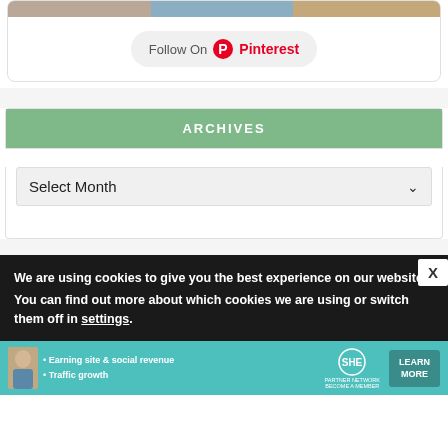[Figure (screenshot): Pinterest Follow On button widget with image strip at top showing lifestyle photos]
ARCHIVES
[Figure (screenshot): Select Month dropdown widget]
We are using cookies to give you the best experience on our website.
You can find out more about which cookies we are using or switch them off in settings.
[Figure (infographic): SHE Partner Network advertisement banner with woman photo, bullet points about Earning site & social revenue and Traffic growth, SHE logo, and Learn More button]